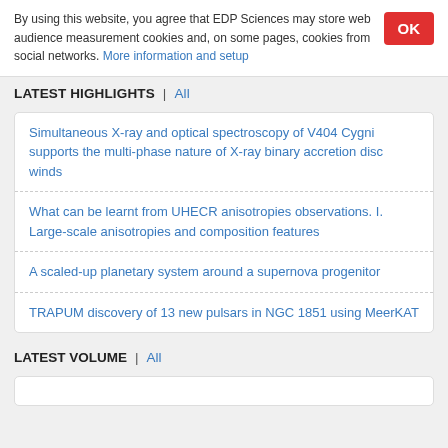By using this website, you agree that EDP Sciences may store web audience measurement cookies and, on some pages, cookies from social networks. More information and setup
LATEST HIGHLIGHTS | All
Simultaneous X-ray and optical spectroscopy of V404 Cygni supports the multi-phase nature of X-ray binary accretion disc winds
What can be learnt from UHECR anisotropies observations. I. Large-scale anisotropies and composition features
A scaled-up planetary system around a supernova progenitor
TRAPUM discovery of 13 new pulsars in NGC 1851 using MeerKAT
LATEST VOLUME | All